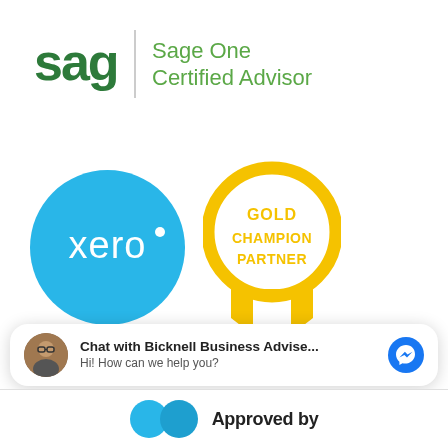[Figure (logo): Sage One Certified Advisor logo with green Sage wordmark and vertical divider, followed by green text 'Sage One Certified Advisor']
[Figure (logo): Xero Gold Champion Partner badges: blue circle with 'xero' text and a gold/yellow circular badge labeled 'GOLD CHAMPION PARTNER' with ribbon]
Chat with Bicknell Business Advise...
Hi! How can we help you?
Approved by